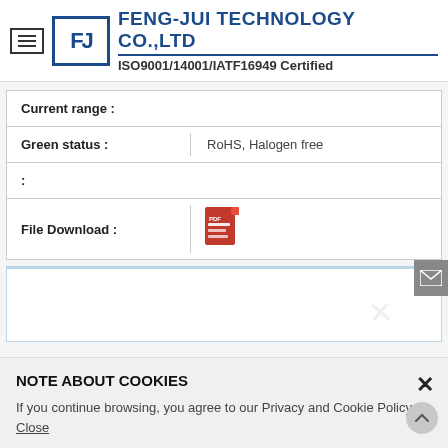FENG-JUI TECHNOLOGY CO.,LTD ISO9001/14001/IATF16949 Certified
| Current range : |  |
| Green status : | RoHS, Halogen free |
| : |  |
| File Download : | [PDF icon] |
NOTE ABOUT COOKIES
If you continue browsing, you agree to our Privacy and Cookie Policy. Close